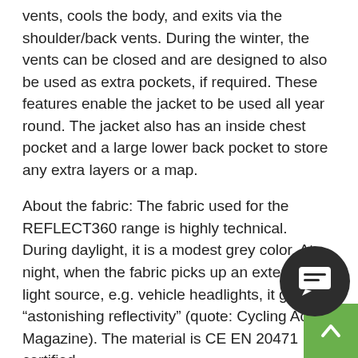vents, cools the body, and exits via the shoulder/back vents. During the winter, the vents can be closed and are designed to also be used as extra pockets, if required. These features enable the jacket to be used all year round. The jacket also has an inside chest pocket and a large lower back pocket to store any extra layers or a map.
About the fabric: The fabric used for the REFLECT360 range is highly technical. During daylight, it is a modest grey color. At night, when the fabric picks up an external light source, e.g. vehicle headlights, it gives "astonishing reflectivity" (quote: Cycling Active Magazine). The material is CE EN 20471 certified.
- 100% reflective outer-shell
- Waterproof (5000mm)
- Built-in air vents (front, under-arm, and shoulder…)
- Fleece-lined comfort collar
- Adjustable waistband and hook-and-loop cuff
- Waterproof storm zip
[Figure (other): Dark circular chat/message button overlay and green scroll-to-top button in the bottom-right corner]